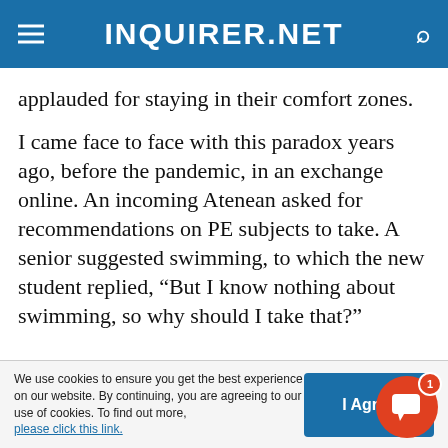INQUIRER.NET
applauded for staying in their comfort zones.
I came face to face with this paradox years ago, before the pandemic, in an exchange online. An incoming Atenean asked for recommendations on PE subjects to take. A senior suggested swimming, to which the new student replied, “But I know nothing about swimming, so why should I take that?”
We use cookies to ensure you get the best experience on our website. By continuing, you are agreeing to our use of cookies. To find out more, please click this link.